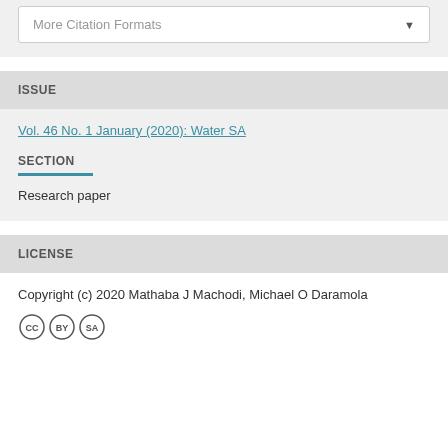More Citation Formats
ISSUE
Vol. 46 No. 1 January (2020): Water SA
SECTION
Research paper
LICENSE
Copyright (c) 2020 Mathaba J Machodi, Michael O Daramola
[Figure (logo): Creative Commons license icons (CC BY SA circles)]